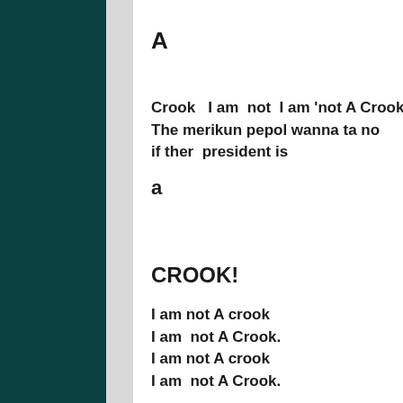A
Crook   I am  not  I am 'not A Crook
The merikun pepol wanna ta no
if ther  president is
a
CROOK!
I am not A crook
I am  not A Crook.
I am not A crook
I am  not A Crook.